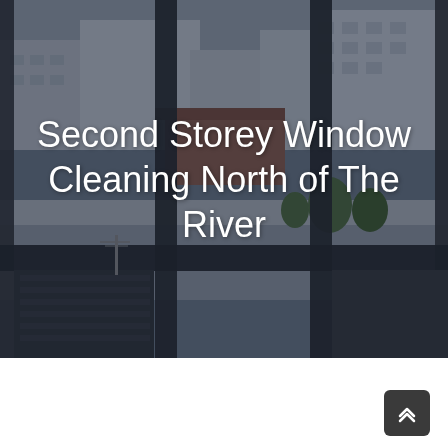[Figure (photo): View looking down from a second storey window showing large dark-framed floor-to-ceiling windows reflecting a city streetscape with buildings, rooftops, trees and a road below, under an overcast sky. The photo has a dark overlay.]
Second Storey Window Cleaning North of The River